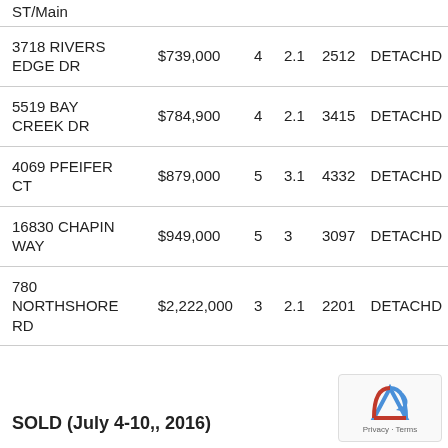| Address | Price | Beds | Baths | SqFt | Type |
| --- | --- | --- | --- | --- | --- |
| ST/Main |  |  |  |  |  |
| 3718 RIVERS EDGE DR | $739,000 | 4 | 2.1 | 2512 | DETACHD |
| 5519 BAY CREEK DR | $784,900 | 4 | 2.1 | 3415 | DETACHD |
| 4069 PFEIFER CT | $879,000 | 5 | 3.1 | 4332 | DETACHD |
| 16830 CHAPIN WAY | $949,000 | 5 | 3 | 3097 | DETACHD |
| 780 NORTHSHORE RD | $2,222,000 | 3 | 2.1 | 2201 | DETACHD |
SOLD (July 4-10,, 2016)